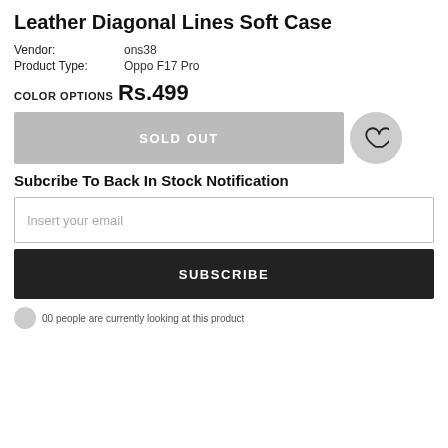Leather Diagonal Lines Soft Case
Vendor: ons38
Product Type: Oppo F17 Pro
COLOR OPTIONS
Rs.499
SOLD OUT
Subcribe To Back In Stock Notification
Insert your email
SUBSCRIBE